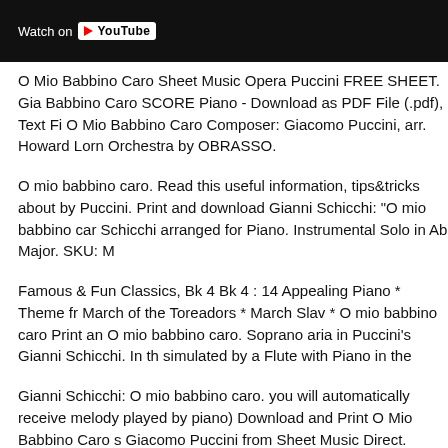[Figure (screenshot): YouTube video thumbnail with 'Watch on YouTube' button overlay on dark background]
O Mio Babbino Caro Sheet Music Opera Puccini FREE SHEET. Gia Babbino Caro SCORE Piano - Download as PDF File (.pdf), Text Fi O Mio Babbino Caro Composer: Giacomo Puccini, arr. Howard Lor Orchestra by OBRASSO.
O mio babbino caro. Read this useful information, tips&tricks about by Puccini. Print and download Gianni Schicchi: "O mio babbino ca Schicchi arranged for Piano. Instrumental Solo in Ab Major. SKU: M
Famous & Fun Classics, Bk 4 Bk 4 : 14 Appealing Piano * Theme fr March of the Toreadors * March Slav * O mio babbino caro Print an O mio babbino caro. Soprano aria in Puccini's Gianni Schicchi. In th simulated by a Flute with Piano in the
Gianni Schicchi: O mio babbino caro. you will automatically receive melody played by piano) Download and Print O Mio Babbino Caro s Giacomo Puccini from Sheet Music Direct.